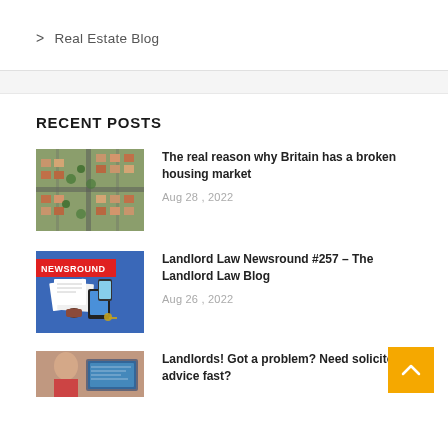> Real Estate Blog
RECENT POSTS
[Figure (photo): Aerial view of a residential housing estate with rows of houses and trees]
The real reason why Britain has a broken housing market
Aug 28 , 2022
[Figure (photo): Newsround blog thumbnail with red banner, papers, tablet, phone on blue background]
Landlord Law Newsround #257 – The Landlord Law Blog
Aug 26 , 2022
[Figure (photo): Partial thumbnail of a person at a computer for landlord advice post]
Landlords! Got a problem? Need solicitor advice fast?